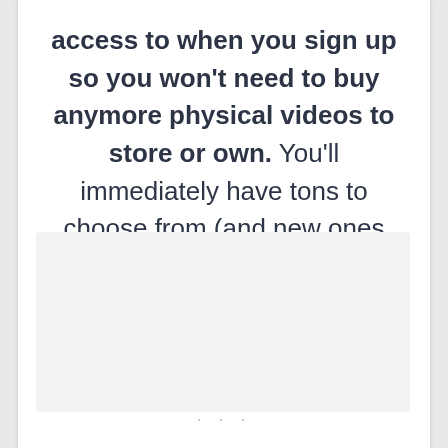access to when you sign up so you won't need to buy anymore physical videos to store or own. You'll immediately have tons to choose from (and new ones added regularly).